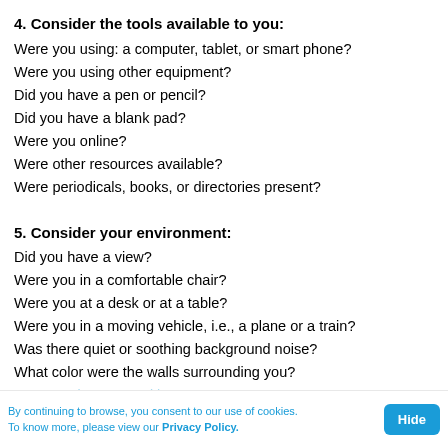4. Consider the tools available to you:
Were you using: a computer, tablet, or smart phone?
Were you using other equipment?
Did you have a pen or pencil?
Did you have a blank pad?
Were you online?
Were other resources available?
Were periodicals, books, or directories present?
5. Consider your environment:
Did you have a view?
Were you in a comfortable chair?
Were you at a desk or at a table?
Were you in a moving vehicle, i.e., a plane or a train?
Was there quiet or soothing background noise?
What color were the walls surrounding you?
Were you in a room with rugs?
By continuing to browse, you consent to our use of cookies. To know more, please view our Privacy Policy.